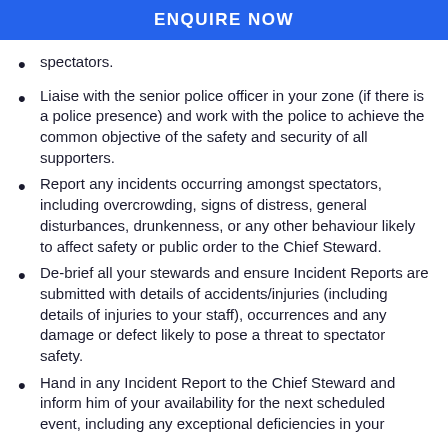ENQUIRE NOW
spectators.
Liaise with the senior police officer in your zone (if there is a police presence) and work with the police to achieve the common objective of the safety and security of all supporters.
Report any incidents occurring amongst spectators, including overcrowding, signs of distress, general disturbances, drunkenness, or any other behaviour likely to affect safety or public order to the Chief Steward.
De-brief all your stewards and ensure Incident Reports are submitted with details of accidents/injuries (including details of injuries to your staff), occurrences and any damage or defect likely to pose a threat to spectator safety.
Hand in any Incident Report to the Chief Steward and inform him of your availability for the next scheduled event, including any exceptional deficiencies in your